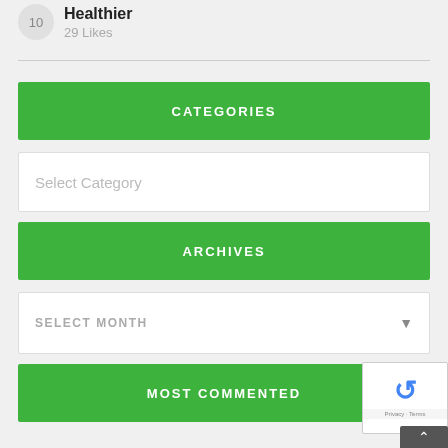10 Healthier
29 Likes
CATEGORIES
Select Category
ARCHIVES
SELECT MONTH
MOST COMMENTED
[Figure (other): reCAPTCHA widget with Privacy - Terms footer and back-to-top button]